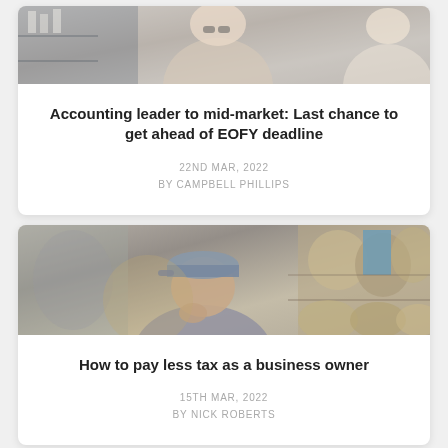[Figure (photo): Photo of a smiling woman with glasses in an office/shop setting, partially cropped at top]
Accounting leader to mid-market: Last chance to get ahead of EOFY deadline
22ND MAR, 2022
BY CAMPBELL PHILLIPS
[Figure (photo): Photo of a man wearing a cap, sitting thoughtfully with hand on chin, surrounded by wicker baskets in a shop]
How to pay less tax as a business owner
15TH MAR, 2022
BY NICK ROBERTS